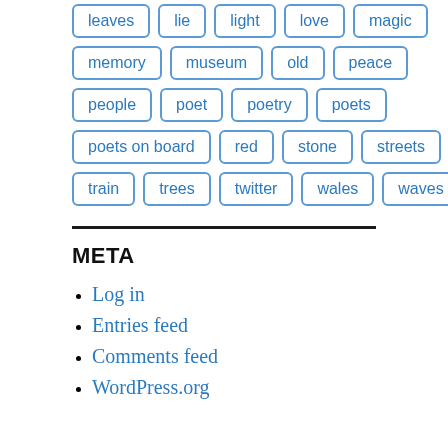leaves
lie
light
love
magic
memory
museum
old
peace
people
poet
poetry
poets
poets on board
red
stone
streets
train
trees
twitter
wales
waves
META
Log in
Entries feed
Comments feed
WordPress.org